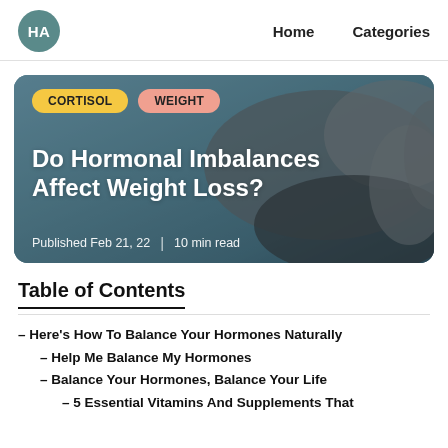HA  Home  Categories
[Figure (photo): Person pinching belly fat wearing a gray long-sleeve shirt, with overlay text showing article title and metadata. Tags: CORTISOL, WEIGHT. Title: Do Hormonal Imbalances Affect Weight Loss? Published Feb 21, 22 | 10 min read]
Table of Contents
– Here's How To Balance Your Hormones Naturally
– Help Me Balance My Hormones
– Balance Your Hormones, Balance Your Life
– 5 Essential Vitamins And Supplements That